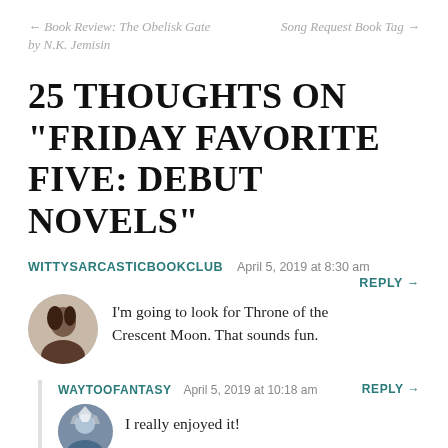← Book Review: The Obelisk Gate by N.K. Jemisin    Song Request Book Tag →
25 THOUGHTS ON "FRIDAY FAVORITE FIVE: DEBUT NOVELS"
WITTYSARCASTICBOOKCLUB  April 5, 2019 at 8:30 am
REPLY →
I'm going to look for Throne of the Crescent Moon. That sounds fun.
WAYTOOFANTASY  April 5, 2019 at 10:18 am  REPLY →
I really enjoyed it!